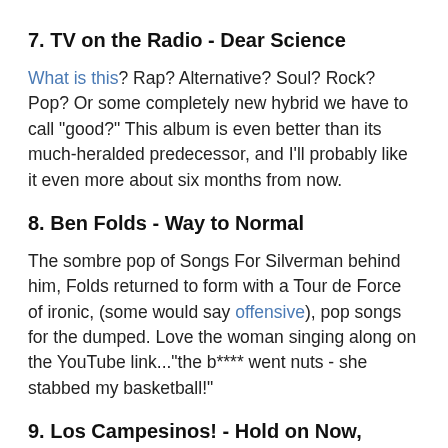7. TV on the Radio - Dear Science
What is this? Rap? Alternative? Soul? Rock? Pop? Or some completely new hybrid we have to call "good?" This album is even better than its much-heralded predecessor, and I'll probably like it even more about six months from now.
8. Ben Folds - Way to Normal
The sombre pop of Songs For Silverman behind him, Folds returned to form with a Tour de Force of ironic, (some would say offensive), pop songs for the dumped. Love the woman singing along on the YouTube link..."the b**** went nuts - she stabbed my basketball!"
9. Los Campesinos! - Hold on Now, Youngster
Releasing two albums in its first year, the delightful Los Campesinos! wished themselves dead on their very first single. Hey, the classic "cute girl, ugly guy" rock & roll archetype still works. Long live Shane MacGowan and